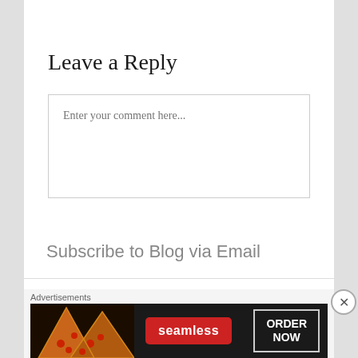Leave a Reply
Enter your comment here...
Subscribe to Blog via Email
Advertisements
[Figure (other): Seamless food delivery advertisement banner showing pizza slices on the left, Seamless logo in red, and 'ORDER NOW' button on right with dark background]